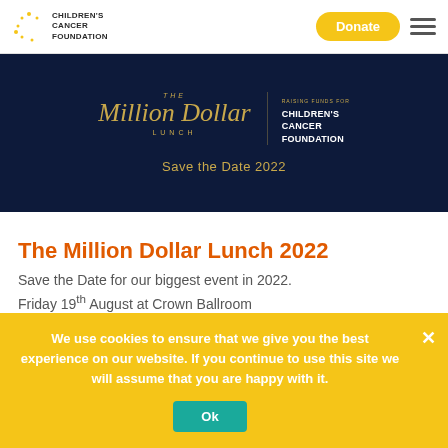CHILDREN'S CANCER FOUNDATION | Donate
[Figure (illustration): Dark navy blue banner with gold script text reading 'The Million Dollar Lunch' and text 'RAISING FUNDS FOR CHILDREN'S CANCER FOUNDATION' on the right. Below reads 'Save the Date 2022' in gold.]
The Million Dollar Lunch 2022
Save the Date for our biggest event in 2022.
Friday 19th August at Crown Ballroom
We use cookies to ensure that we give you the best experience on our website. If you continue to use this site we will assume that you are happy with it.